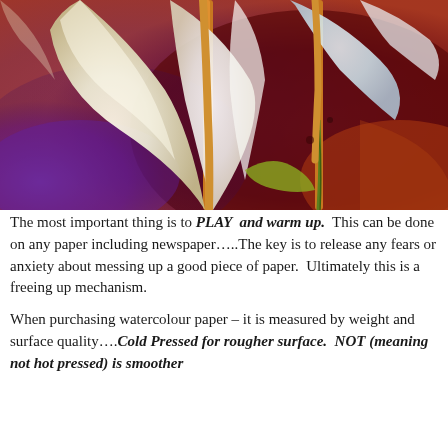[Figure (illustration): A vibrant watercolour painting of calla lilies with white flowers and orange stamens against a background of deep purple, burgundy, and muted red-orange washes.]
The most important thing is to PLAY and warm up. This can be done on any paper including newspaper…..The key is to release any fears or anxiety about messing up a good piece of paper. Ultimately this is a freeing up mechanism.

When purchasing watercolour paper – it is measured by weight and surface quality….Cold Pressed for rougher surface.  NOT (meaning not hot pressed) is smoother